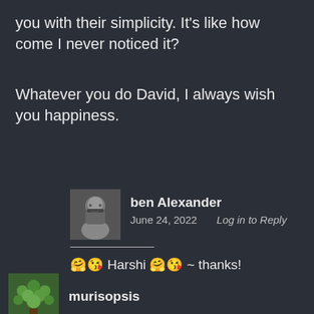you with their simplicity. It's like how come I never noticed it?
Whatever you do David, I always wish you happiness.
ben Alexander
June 24, 2022    Log in to Reply
🤗😘 Harshi 🤗😘 ~ thanks!
murisopsis